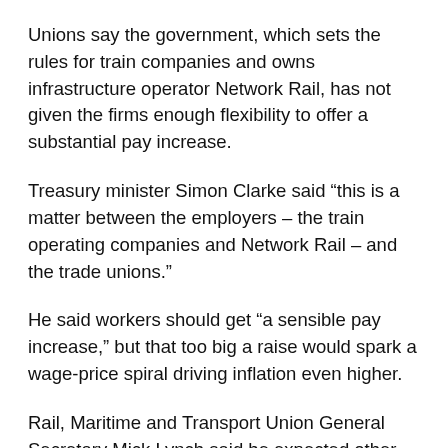Unions say the government, which sets the rules for train companies and owns infrastructure operator Network Rail, has not given the firms enough flexibility to offer a substantial pay increase.
Treasury minister Simon Clarke said “this is a matter between the employers – the train operating companies and Network Rail – and the trade unions.”
He said workers should get “a sensible pay increase,” but that too big a raise would spark a wage-price spiral driving inflation even higher.
Rail, Maritime and Transport Union General Secretary Mick Lynch said he expected other sectors to strike later this year.
“I think there are going to be many unions that are balloting across the country because people can’t take it anymore,” he